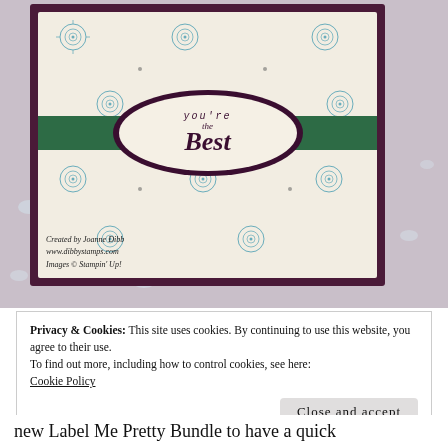[Figure (photo): A handmade greeting card with cream background, decorative mandala stamps in teal/blue, dark purple border, a green ribbon band, and an oval label in the center reading 'you're the Best' in cursive/italic. Small crystal embellishments are scattered around the card. Text overlay reads: Created by Joanne Dibb, www.dibbystamps.com, Images © Stampin' Up!]
Privacy & Cookies: This site uses cookies. By continuing to use this website, you agree to their use.
To find out more, including how to control cookies, see here:
Cookie Policy
Close and accept
new Label Me Pretty Bundle to have a quick